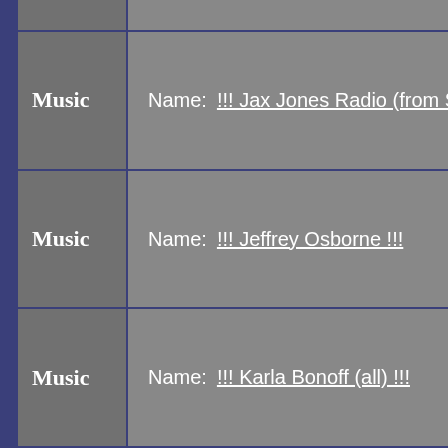| Category | Name |
| --- | --- |
|  |  |
| Music | !!! Jax Jones Radio (from Spotify) |
| Music | !!! Jeffrey Osborne !!! |
| Music | !!! Karla Bonoff (all) !!! |